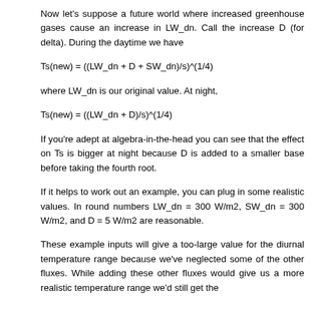Now let's suppose a future world where increased greenhouse gases cause an increase in LW_dn. Call the increase D (for delta). During the daytime we have
where LW_dn is our original value. At night,
If you're adept at algebra-in-the-head you can see that the effect on Ts is bigger at night because D is added to a smaller base before taking the fourth root.
If it helps to work out an example, you can plug in some realistic values. In round numbers LW_dn = 300 W/m2, SW_dn = 300 W/m2, and D = 5 W/m2 are reasonable.
These example inputs will give a too-large value for the diurnal temperature range because we've neglected some of the other fluxes. While adding these other fluxes would give us a more realistic temperature range we'd still get the